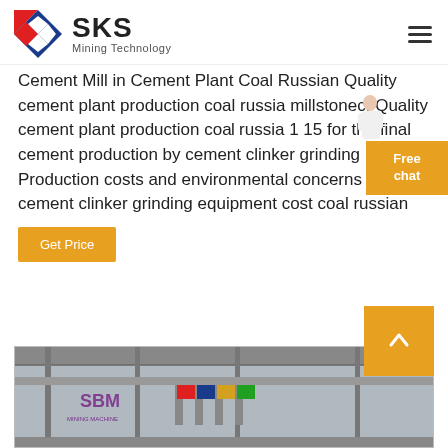SKS Mining Technology
Cement Mill in Cement Plant Coal Russian Quality cement plant production coal russia millstonecf Quality cement plant production coal russia 1 15 for the final cement production by cement clinker grinding Production costs and environmental concerns are cement clinker grinding equipment cost coal russian
Get Price
[Figure (photo): Industrial facility image showing machinery/equipment with SBM logo and flags visible]